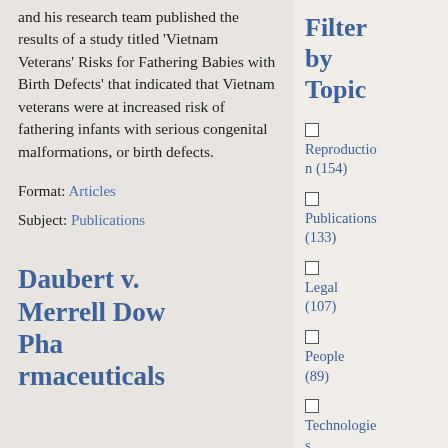and his research team published the results of a study titled 'Vietnam Veterans' Risks for Fathering Babies with Birth Defects' that indicated that Vietnam veterans were at increased risk of fathering infants with serious congenital malformations, or birth defects.
Format: Articles
Subject: Publications
Daubert v. Merrell Dow Pharmaceuticals...
Filter by Topic
Reproduction (154)
Publications (133)
Legal (107)
People (89)
Technologies